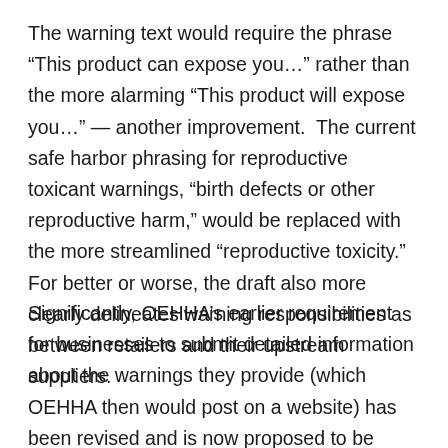The warning text would require the phrase “This product can expose you…” rather than the more alarming “This product will expose you…” — another improvement. The current safe harbor phrasing for reproductive toxicant warnings, “birth defects or other reproductive harm,” would be replaced with the more streamlined “reproductive toxicity.” For better or worse, the draft also more clearly delineates warning responsibilities as between retailers and their upstream suppliers.
Significantly, OEHHA’s earlier requirement for businesses to submit detailed information about the warnings they provide (which OEHHA then would post on a website) has been revised and is now proposed to be located outside of the warning regulations —